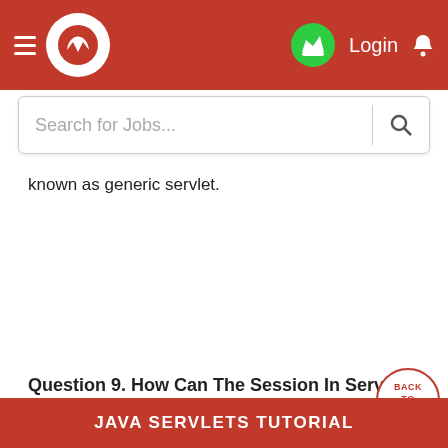[Figure (screenshot): Red navigation bar with hamburger menu, white circular logo with W mark, green crown icon, Login text, and bell icon]
[Figure (screenshot): Search bar with placeholder text 'Search for Jobs...' and search icon]
known as generic servlet.
Question 9. How Can The Session In Servlet Be Destroyed?
JAVA SERVLETS TUTORIAL